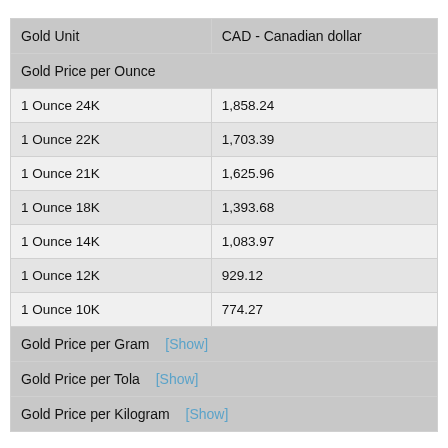| Gold Unit | CAD - Canadian dollar |
| --- | --- |
| Gold Price per Ounce |  |
| 1 Ounce 24K | 1,858.24 |
| 1 Ounce 22K | 1,703.39 |
| 1 Ounce 21K | 1,625.96 |
| 1 Ounce 18K | 1,393.68 |
| 1 Ounce 14K | 1,083.97 |
| 1 Ounce 12K | 929.12 |
| 1 Ounce 10K | 774.27 |
| Gold Price per Gram [Show] |  |
| Gold Price per Tola [Show] |  |
| Gold Price per Kilogram [Show] |  |